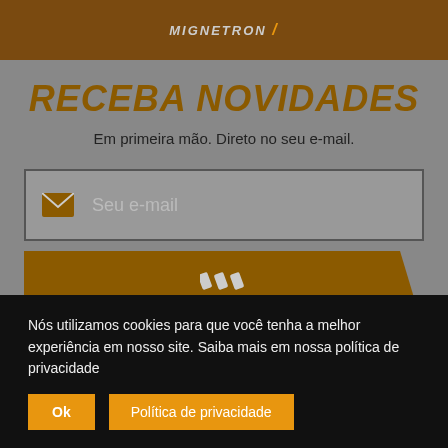MIGNETRON
RECEBA NOVIDADES
Em primeira mão. Direto no seu e-mail.
[Figure (screenshot): Email input field with envelope icon and placeholder text 'Seu e-mail']
[Figure (screenshot): Submit button with three diagonal stripes icon and text 'ENVIAR']
Nós utilizamos cookies para que você tenha a melhor experiência em nosso site. Saiba mais em nossa política de privacidade
Ok   Política de privacidade